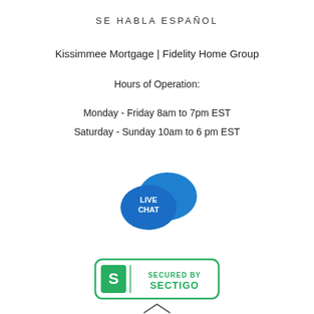SE HABLA ESPAÑOL
Kissimmee Mortgage | Fidelity Home Group
Hours of Operation:
Monday - Friday 8am to 7pm EST
Saturday - Sunday 10am to 6 pm EST
[Figure (illustration): Blue speech bubble icons with 'LIVE CHAT' text in white]
[Figure (logo): Secured by Sectigo badge with green border, showing 'S' logo and text 'SECURED BY SECTIGO']
[Figure (illustration): Upward pointing chevron/arrow icon]